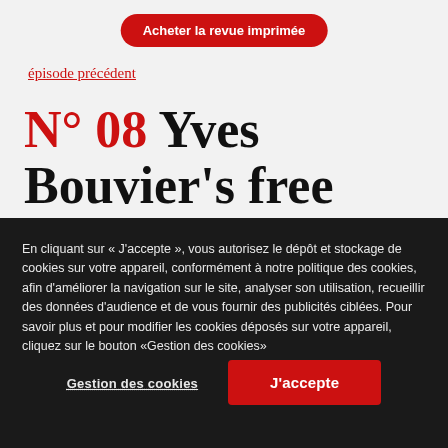Acheter la revue imprimée
épisode précédent
N° 08 Yves Bouvier's free ports halted in mid-boom
épisode suivant
En cliquant sur « J'accepte », vous autorisez le dépôt et stockage de cookies sur votre appareil, conformément à notre politique des cookies, afin d'améliorer la navigation sur le site, analyser son utilisation, recueillir des données d'audience et de vous fournir des publicités ciblées. Pour savoir plus et pour modifier les cookies déposés sur votre appareil, cliquez sur le bouton «Gestion des cookies»
Gestion des cookies
J'accepte